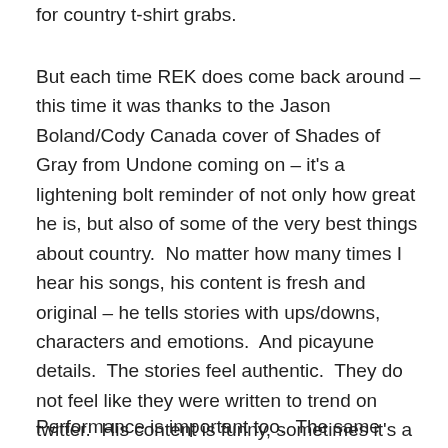for country t-shirt grabs.
But each time REK does come back around – this time it was thanks to the Jason Boland/Cody Canada cover of Shades of Gray from Undone coming on – it's a lightening bolt reminder of not only how great he is, but also of some of the very best things about country.  No matter how many times I hear his songs, his content is fresh and original – he tells stories with ups/downs, characters and emotions.  And picayune details.  The stories feel authentic.  They do not feel like they were written to trend on twitter.  His content is funny, sometimes it's a poke of darker irony, but more often it's silliness – either cleverly woven into the fabric of a story or sometimes just for its own sake.
Performance is important too.  The same song can take